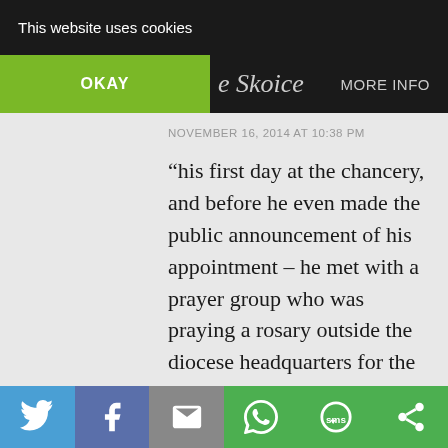This website uses cookies
OKAY  MORE INFO
NOVEMBER 16, 2014 AT 10:38 PM
“his first day at the chancery, and before he even made the public announcement of his appointment – he met with a prayer group who was praying a rosary outside the diocese headquarters for the Latin Mass to be available in the diocese. This group had been meeting twice a week in front of the
Share icons: Twitter, Facebook, Email, WhatsApp, SMS, Other